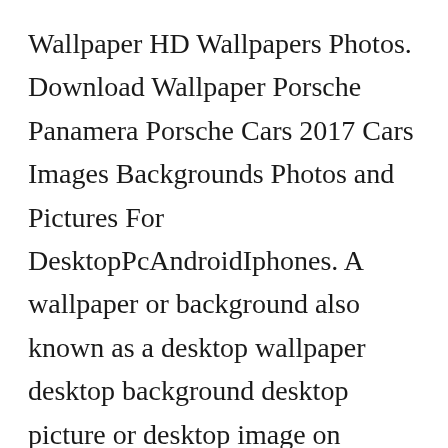Wallpaper HD Wallpapers Photos. Download Wallpaper Porsche Panamera Porsche Cars 2017 Cars Images Backgrounds Photos and Pictures For DesktopPcAndroidIphones. A wallpaper or background also known as a desktop wallpaper desktop background desktop picture or desktop image on computers is a digital image photo drawing etc used as a decorative background of a graphical user interface on the screen of a computer mobile communications device or other